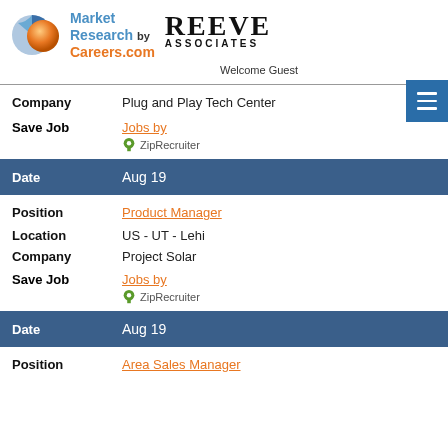[Figure (logo): Market Research Careers.com by Reeve Associates logo with orange sphere and blue pie chart graphic]
Welcome Guest
Company   Plug and Play Tech Center
Save Job   Jobs by ZipRecruiter
| Field | Value |
| --- | --- |
| Date | Aug 19 |
| Position | Product Manager |
| Location | US - UT - Lehi |
| Company | Project Solar |
| Save Job | Jobs by ZipRecruiter |
| Date | Aug 19 |
| Position | Area Sales Manager |